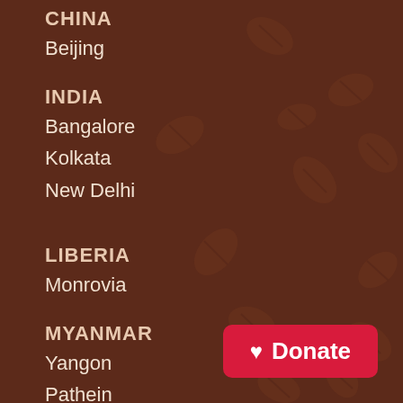CHINA
Beijing
INDIA
Bangalore
Kolkata
New Delhi
LIBERIA
Monrovia
MYANMAR
Yangon
Pathein
TANZANIA
Dar es Salaam
Donate